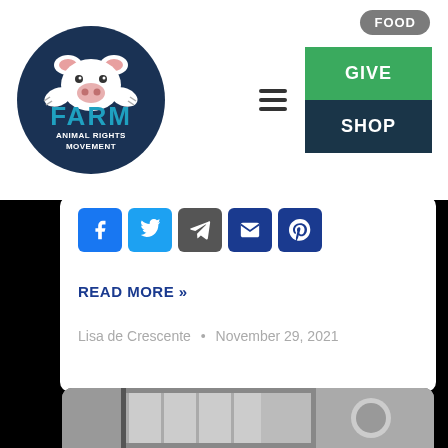[Figure (logo): FARM Animal Rights Movement circular logo with pig illustration on dark navy background]
GIVE
SHOP
[Figure (infographic): Social share icons: Facebook, Twitter, Telegram, Email, Pinterest]
READ MORE »
Lisa de Crescente · November 29, 2021
[Figure (photo): Black and white photo of a kitchen/food processing area with a bearded person visible]
FOOD